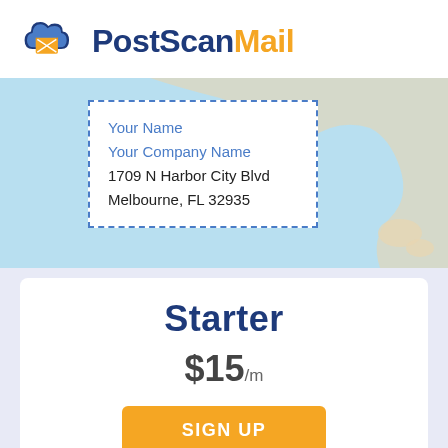[Figure (logo): PostScanMail logo with cloud and envelope icon in blue and yellow/orange]
[Figure (map): Light blue map of Florida with a dashed-border address box showing: Your Name, Your Company Name, 1709 N Harbor City Blvd, Melbourne, FL 32935]
Starter
$15/m
SIGN UP